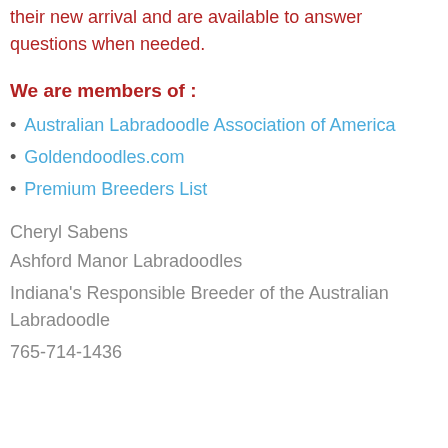their new arrival and are available to answer questions when needed.
We are members of :
Australian Labradoodle Association of America
Goldendoodles.com
Premium Breeders List
Cheryl Sabens
Ashford Manor Labradoodles
Indiana's Responsible Breeder of the Australian Labradoodle
765-714-1436